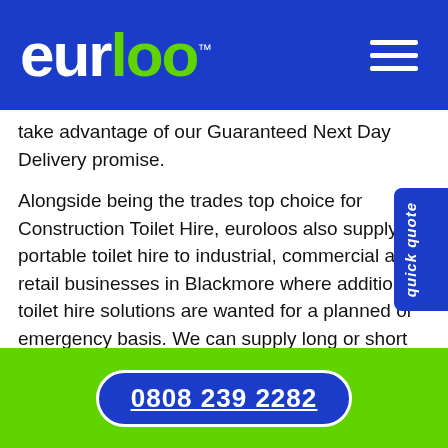euroloo™
take advantage of our Guaranteed Next Day Delivery promise.
Alongside being the trades top choice for Construction Toilet Hire, euroloos also supply portable toilet hire to industrial, commercial and retail businesses in Blackmore where additional toilet hire solutions are wanted for a planned or emergency basis. We can supply long or short term toilet hire into places where access to normal toilet facilities maybe be temporarily limited or non-existent. This has been observable with our temporary toilet hire facilities being utilised by the
0808 239 2282